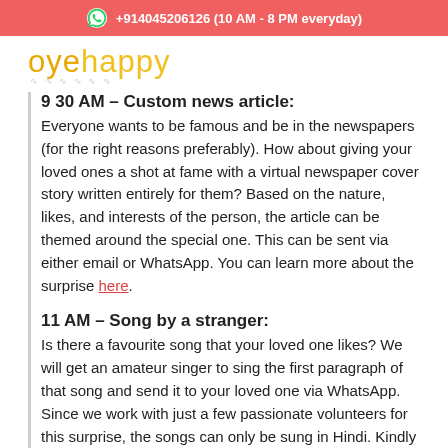+914045206126 (10 AM - 8 PM everyday)
[Figure (logo): oyehappy logo in yellow/gold handwritten style font]
9 30 AM – Custom news article:
Everyone wants to be famous and be in the newspapers (for the right reasons preferably). How about giving your loved ones a shot at fame with a virtual newspaper cover story written entirely for them? Based on the nature, likes, and interests of the person, the article can be themed around the special one. This can be sent via either email or WhatsApp. You can learn more about the surprise here.
11 AM – Song by a stranger:
Is there a favourite song that your loved one likes? We will get an amateur singer to sing the first paragraph of that song and send it to your loved one via WhatsApp. Since we work with just a few passionate volunteers for this surprise, the songs can only be sung in Hindi. Kindly do not share songs of any other language in the order